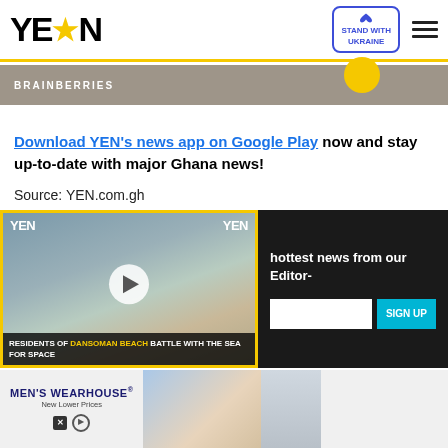YEN ★
[Figure (screenshot): Brainberries advertisement bar with yellow circle]
Download YEN's news app on Google Play now and stay up-to-date with major Ghana news!
Source: YEN.com.gh
[Figure (infographic): Social media share icons: Facebook, Messenger, Twitter]
[Figure (screenshot): Video player showing RESIDENTS OF DANSOMAN BEACH BATTLE WITH THE SEA FOR SPACE, with YEN logos and play button]
hottest news from our Editor-
SIGN UP
[Figure (screenshot): MEN'S WEARHOUSE New Lower Prices advertisement with suit photos]